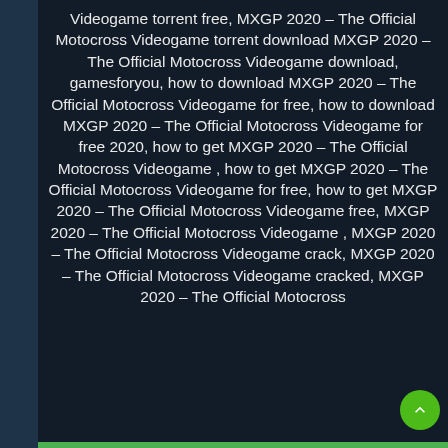Videogame torrent free, MXGP 2020 – The Official Motocross Videogame torrent download MXGP 2020 – The Official Motocross Videogame download, gamesforyou, how to download MXGP 2020 – The Official Motocross Videogame for free, how to download MXGP 2020 – The Official Motocross Videogame for free 2020, how to get MXGP 2020 – The Official Motocross Videogame , how to get MXGP 2020 – The Official Motocross Videogame for free, how to get MXGP 2020 – The Official Motocross Videogame free, MXGP 2020 – The Official Motocross Videogame , MXGP 2020 – The Official Motocross Videogame crack, MXGP 2020 – The Official Motocross Videogame cracked, MXGP 2020 – The Official Motocross